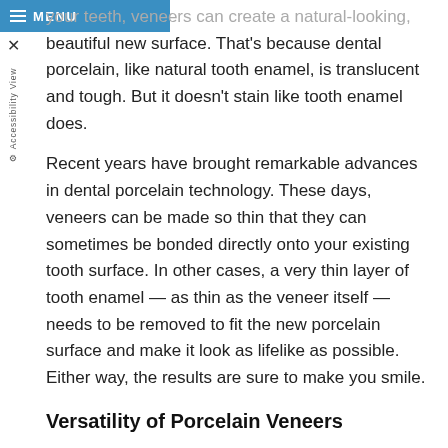MENU
your teeth, veneers can create a natural-looking, beautiful new surface. That's because dental porcelain, like natural tooth enamel, is translucent and tough. But it doesn't stain like tooth enamel does.
Recent years have brought remarkable advances in dental porcelain technology. These days, veneers can be made so thin that they can sometimes be bonded directly onto your existing tooth surface. In other cases, a very thin layer of tooth enamel — as thin as the veneer itself — needs to be removed to fit the new porcelain surface and make it look as lifelike as possible. Either way, the results are sure to make you smile.
Versatility of Porcelain Veneers
Veneers can be used to improve any of the following characteristics of your teeth: